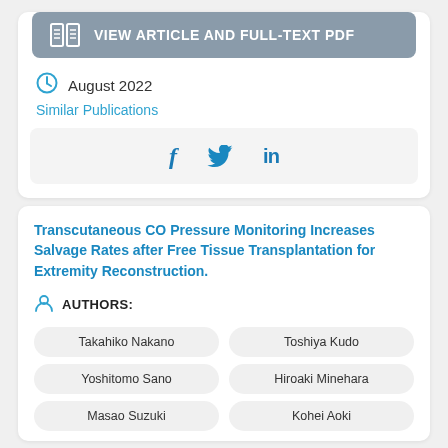[Figure (other): VIEW ARTICLE AND FULL-TEXT PDF button with book icon]
August 2022
Similar Publications
[Figure (other): Social share bar with Facebook, Twitter, LinkedIn icons]
Transcutaneous CO Pressure Monitoring Increases Salvage Rates after Free Tissue Transplantation for Extremity Reconstruction.
AUTHORS:
Takahiko Nakano
Toshiya Kudo
Yoshitomo Sano
Hiroaki Minehara
Masao Suzuki
Kohei Aoki